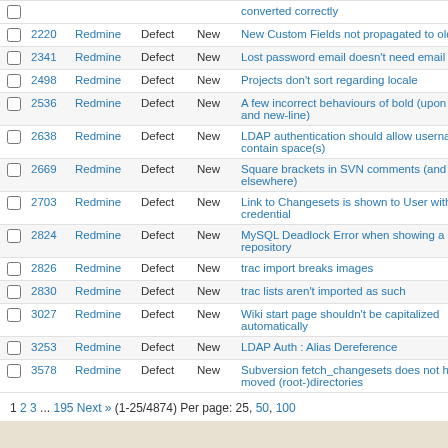|  | # | Project | Tracker | Status | Subject |
| --- | --- | --- | --- | --- | --- |
|  |  |  |  |  | converted correctly |
|  | 2220 | Redmine | Defect | New | New Custom Fields not propagated to old is... |
|  | 2341 | Redmine | Defect | New | Lost password email doesn't need email foo... |
|  | 2498 | Redmine | Defect | New | Projects don't sort regarding locale |
|  | 2536 | Redmine | Defect | New | A few incorrect behaviours of bold (upon he... and new-line) |
|  | 2638 | Redmine | Defect | New | LDAP authentication should allow username... contain space(s) |
|  | 2669 | Redmine | Defect | New | Square brackets in SVN comments (and pro... elsewhere) |
|  | 2703 | Redmine | Defect | New | Link to Changesets is shown to User withou... credential |
|  | 2824 | Redmine | Defect | New | MySQL Deadlock Error when showing a big... repository |
|  | 2826 | Redmine | Defect | New | trac import breaks images |
|  | 2830 | Redmine | Defect | New | trac lists aren't imported as such |
|  | 3027 | Redmine | Defect | New | Wiki start page shouldn't be capitalized automatically |
|  | 3253 | Redmine | Defect | New | LDAP Auth : Alias Dereference |
|  | 3578 | Redmine | Defect | New | Subversion fetch_changesets does not hand... moved (root-)directories |
1 2 3 ... 195 Next » (1-25/4874) Per page: 25, 50, 100